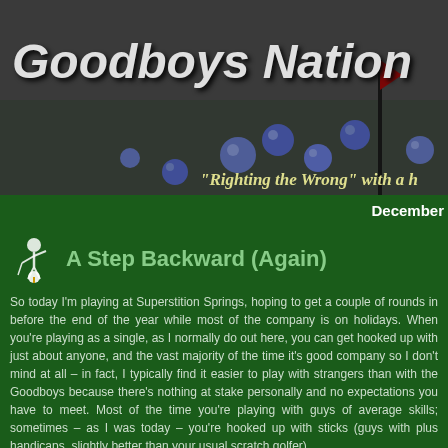[Figure (photo): Goodboys Nation blog header banner showing a putting green with blue golf balls and a flag stick. Large italic bold white text reads 'Goodboys Nation'. Yellow italic text at bottom reads '"Righting the Wrong" with a h']
December
A Step Backward (Again)
So today I'm playing at Superstition Springs, hoping to get a couple of rounds in before the end of the year while most of the company is on holidays. When you're playing as a single, as I normally do out here, you can get hooked up with just about anyone, and the vast majority of the time it's good company so I don't mind at all – in fact, I typically find it easier to play with strangers than with the Goodboys because there's nothing at stake personally and no expectations you have to meet. Most of the time you're playing with guys of average skills; sometimes – as I was today – you're hooked up with sticks (guys with plus handicaps, slightly better than your usual scratch golfer).
It was my second time playing with sticks. Like the sticks I played with the first time, Cabe and Eric were your normal young and athletically-built dudes who not only crushed the ball a ton, but had short games you would die to have. Just the sound of the ball coming off their club faces was a beautiful thing to behold. Better yet, unlike the sticks I played with at Trilogy back in May, these guys just seemed like all-around good guys. So when they suggested we all play from the championship tees – marking a